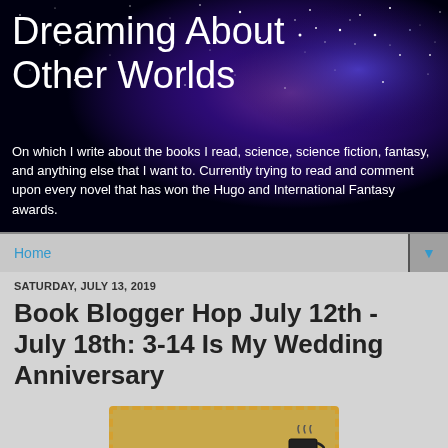Dreaming About Other Worlds
On which I write about the books I read, science, science fiction, fantasy, and anything else that I want to. Currently trying to read and comment upon every novel that has won the Hugo and International Fantasy awards.
Home
SATURDAY, JULY 13, 2019
Book Blogger Hop July 12th - July 18th: 3-14 Is My Wedding Anniversary
[Figure (logo): Book Blogger Hop logo with coffee cup on tan/gold background with dashed border]